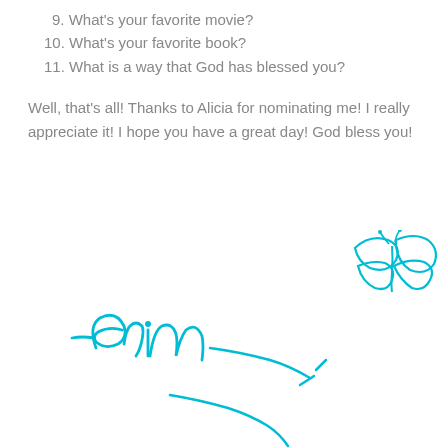9. What's your favorite movie?
10. What's your favorite book?
11. What is a way that God has blessed you?
Well, that's all! Thanks to Alicia for nominating me! I really appreciate it! I hope you have a great day! God bless you!
[Figure (illustration): Cursive signature reading '-Erin' in cyan/turquoise color with a decorative butterfly illustration in the same cyan color in the upper right, and a trailing flourish below]